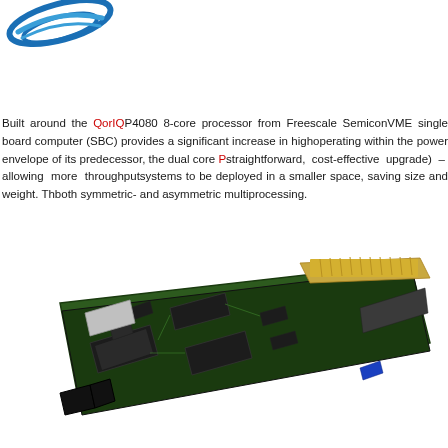[Figure (logo): Blue swoosh/wave logo of the company in the top left corner]
Built around the QorIQ P4080 8-core processor from Freescale Semiconductor, this VME single board computer (SBC) provides a significant increase in high performance operating within the power envelope of its predecessor, the dual core P... (straightforward, cost-effective upgrade) – allowing more throughput ... systems to be deployed in a smaller space, saving size and weight. Th... both symmetric- and asymmetric multiprocessing.
[Figure (photo): Photograph of a VME single board computer (SBC) circuit board, showing a green PCB with multiple chips, connectors, and components arranged on it, viewed at an angle from above.]